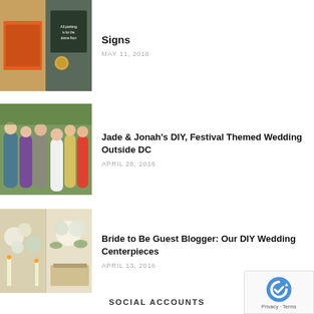[Figure (photo): Wedding stationery and decorative items including an orange book and chalkboard sign]
Signs
MAY 11, 2016
[Figure (photo): Wedding party group photo outdoors with colorful dresses]
Jade & Jonah's DIY, Festival Themed Wedding Outside DC
APRIL 28, 2016
[Figure (photo): DIY wedding centerpiece with flowers and candles]
Bride to Be Guest Blogger: Our DIY Wedding Centerpieces
APRIL 13, 2016
SOCIAL ACCOUNTS